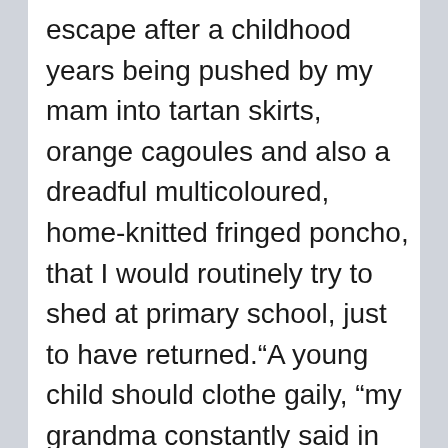escape after a childhood years being pushed by my mam into tartan skirts, orange cagoules and also a dreadful multicoloured, home-knitted fringed poncho, that I would routinely try to shed at primary school, just to have returned.“A young child should clothe gaily, “my grandma constantly said in the 70s, before being quietly notified that the word“gay“had actually tackled a